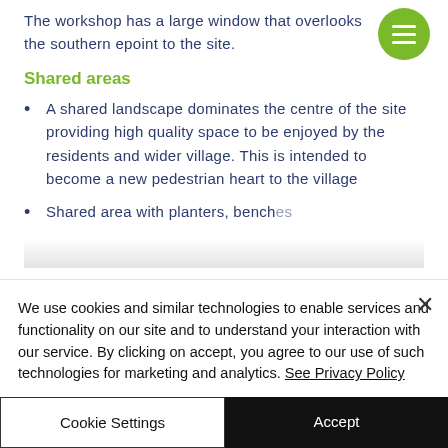The workshop has a large window that overlooks the southern e… point to the site.
Shared areas
A shared landscape dominates the centre of the site providing high quality space to be enjoyed by the residents and wider village. This is intended to become a new pedestrian heart to the village
Shared area with planters, benches…
We use cookies and similar technologies to enable services and functionality on our site and to understand your interaction with our service. By clicking on accept, you agree to our use of such technologies for marketing and analytics. See Privacy Policy